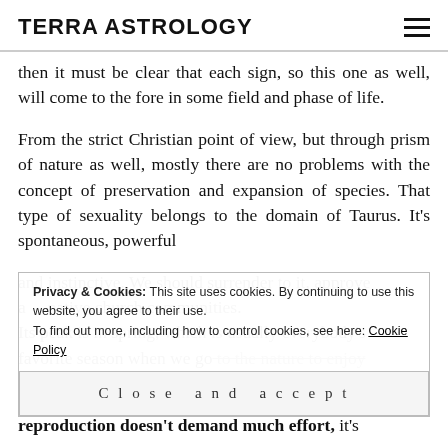TERRA ASTROLOGY
then it must be clear that each sign, so this one as well, will come to the fore in some field and phase of life.
From the strict Christian point of view, but through prism of nature as well, mostly there are no problems with the concept of preservation and expansion of species. That type of sexuality belongs to the domain of Taurus. It's spontaneous, powerful and instinctive. We should surrender to it, approve and conservative church communities. Its peak is in spring, which is usually everybody's favorite season when we go to the nature to enjoy the abundance it offers. The male sexual energy of reproduction doesn't demand much effort, it's
Privacy & Cookies: This site uses cookies. By continuing to use this website, you agree to their use.
To find out more, including how to control cookies, see here: Cookie Policy
Close and accept